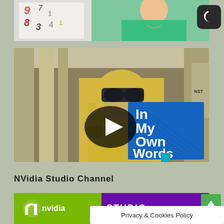[Figure (photo): Partial top photo showing a person in a green top near a whiteboard with numbers/letters, partially cropped]
[Figure (screenshot): Video thumbnail showing a person in a yellow cleanroom suit wearing AR goggles in an industrial facility. Blue sketched box overlay reads 'In My Own Words'. Black play button circle in center.]
NVidia Studio Channel
[Figure (screenshot): NVIDIA Studio Channel banner image showing NVIDIA logo on green background and STUDIO text on purple background]
Privacy & Cookies Policy